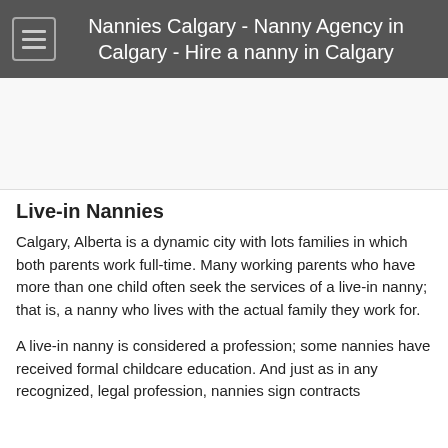Nannies Calgary - Nanny Agency in Calgary - Hire a nanny in Calgary
[Figure (other): Advertisement banner area (blank white space)]
Live-in Nannies
Calgary, Alberta is a dynamic city with lots families in which both parents work full-time. Many working parents who have more than one child often seek the services of a live-in nanny; that is, a nanny who lives with the actual family they work for.
A live-in nanny is considered a profession; some nannies have received formal childcare education. And just as in any recognized, legal profession, nannies sign contracts